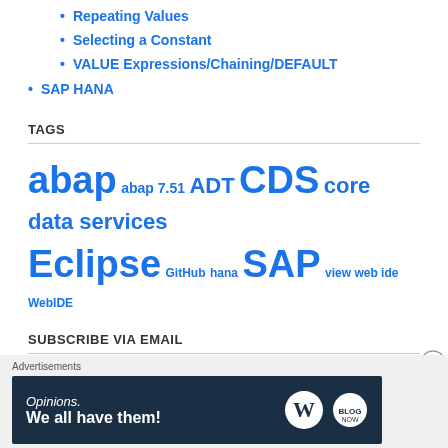Repeating Values
Selecting a Constant
VALUE Expressions/Chaining/DEFAULT
SAP HANA
TAGS
abap abap 7.51 ADT CDS core data services Eclipse GitHub hana SAP view web ide WebIDE
SUBSCRIBE VIA EMAIL
Enter your email address to follow this blog and receive notifications of new posts by email.
Advertisements
[Figure (illustration): Advertisement banner: dark navy background with text 'Opinions. We all have them!' and WordPress logos on the right.]